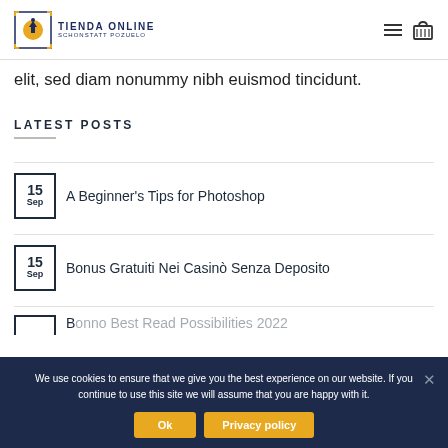TIENDA ONLINE SCHONSTATT POZUELO
elit, sed diam nonummy nibh euismod tincidunt.
LATEST POSTS
15 Sep — A Beginner's Tips for Photoshop
15 Sep — Bonus Gratuiti Nei Casinò Senza Deposito
15 Sep — [partial, cut off]
We use cookies to ensure that we give you the best experience on our website. If you continue to use this site we will assume that you are happy with it.